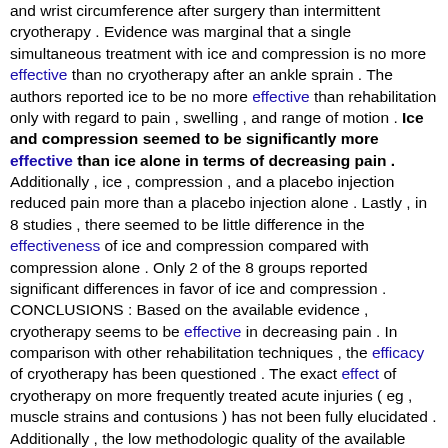and wrist circumference after surgery than intermittent cryotherapy . Evidence was marginal that a single simultaneous treatment with ice and compression is no more effective than no cryotherapy after an ankle sprain . The authors reported ice to be no more effective than rehabilitation only with regard to pain , swelling , and range of motion . Ice and compression seemed to be significantly more effective than ice alone in terms of decreasing pain . Additionally , ice , compression , and a placebo injection reduced pain more than a placebo injection alone . Lastly , in 8 studies , there seemed to be little difference in the effectiveness of ice and compression compared with compression alone . Only 2 of the 8 groups reported significant differences in favor of ice and compression . CONCLUSIONS : Based on the available evidence , cryotherapy seems to be effective in decreasing pain . In comparison with other rehabilitation techniques , the efficacy of cryotherapy has been questioned . The exact effect of cryotherapy on more frequently treated acute injuries ( eg , muscle strains and contusions ) has not been fully elucidated . Additionally , the low methodologic quality of the available evidence is of concern . Many more high-quality studies are required to create evidence-based guidelines on the use of cryotherapy . These must focus on developing modes , durations , and frequencies of ice application that will optimize outcomes after injury . [ Sen. 41, subscore: 1.00 ]: A total of 12 treatment comparisons were made . Ice submersion with simultaneous exercises was significantly more effective than heat and contrast therapy plus simultaneous exercises at reducing swelling . Ice was reported to be no different from ice and low-frequency or high-frequency electric stimulation in effect on swelling , pain , and range of motion . Ice alone seemed to be more effective than applying no form of cryotherapy after minor knee surgery in terms of pain , but no differences were reported for range of motion and girth . Continuous cryotherapy was associated with a significantly